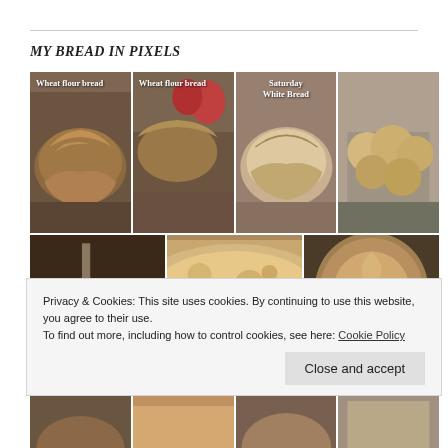MY BREAD IN PIXELS
[Figure (photo): Grid of bread photography photos. Row 1: four photos - Wheat flour bread (round scored loaf on cloth), Wheat flour bread (sliced loaf with fruit background), Saturday White Bread (scored white loaf), rolls in a wire basket. Row 2: three photos - candlestick and cup still life, sliced bread interior crumb shot, round scored bread top view. Row 3 (partially visible): four more bread photos.]
Privacy & Cookies: This site uses cookies. By continuing to use this website, you agree to their use.
To find out more, including how to control cookies, see here: Cookie Policy
Close and accept